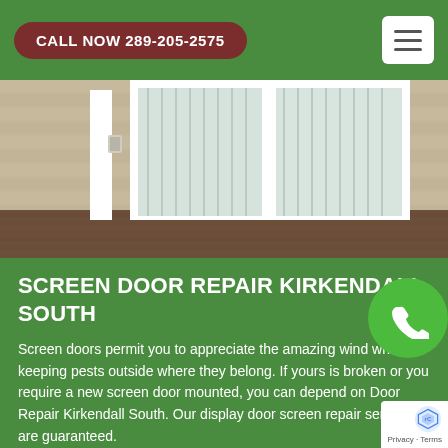CALL NOW 289-205-2575
[Figure (photo): Exterior photo of a house showing a sliding glass door with vertical blinds, white vinyl siding, and a dark composite deck]
SCREEN DOOR REPAIR KIRKENDALL SOUTH
Screen doors permit you to appreciate the amazing wind while keeping pests outside where they belong. If yours is broken or you require a new screen door mounted, you can depend on Door Repair Kirkendall South. Our display door screen repair services are guaranteed.